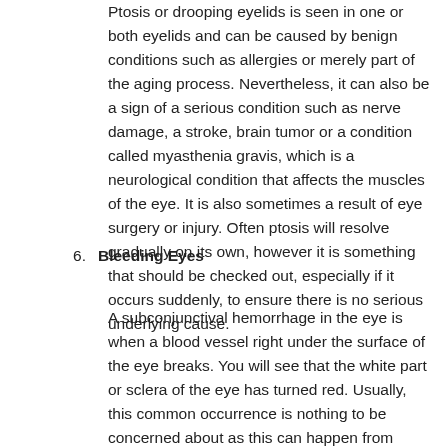Ptosis or drooping eyelids is seen in one or both eyelids and can be caused by benign conditions such as allergies or merely part of the aging process. Nevertheless, it can also be a sign of a serious condition such as nerve damage, a stroke, brain tumor or a condition called myasthenia gravis, which is a neurological condition that affects the muscles of the eye. It is also sometimes a result of eye surgery or injury. Often ptosis will resolve gradually on its own, however it is something that should be checked out, especially if it occurs suddenly, to ensure there is no serious underlying cause.
6. Bleeding Eyes
A subconjunctival hemorrhage in the eye is when a blood vessel right under the surface of the eye breaks. You will see that the white part or sclera of the eye has turned red. Usually, this common occurrence is nothing to be concerned about as this can happen from something as simple as straining, a sneeze or cough. In this case there is nothing to do and it will resolve on its own. If however, the redness comes after an injury to your eye or head it could indicate that there is bleeding in the brain and should be